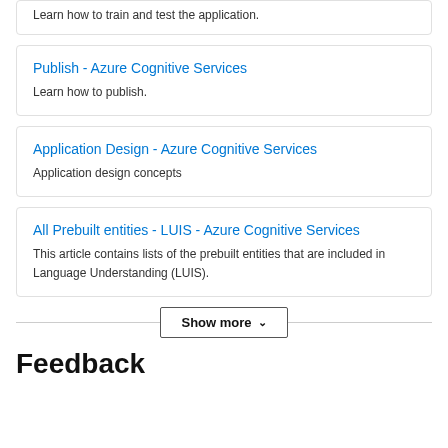Learn how to train and test the application.
Publish - Azure Cognitive Services
Learn how to publish.
Application Design - Azure Cognitive Services
Application design concepts
All Prebuilt entities - LUIS - Azure Cognitive Services
This article contains lists of the prebuilt entities that are included in Language Understanding (LUIS).
Show more
Feedback